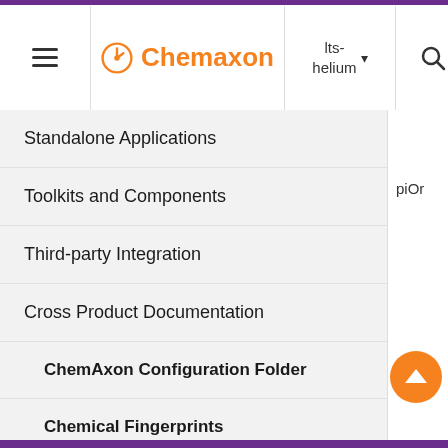Chemaxon — lts-helium
Standalone Applications
Toolkits and Components
Third-party Integration
Cross Product Documentation
ChemAxon Configuration Folder
Chemical Fingerprints
Chemical Terms
Available Functions
Functions by Categories